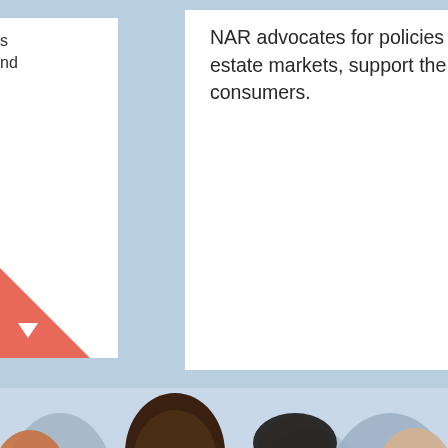s
d
NAR advocates for policies that foster vibrant real estate markets, support the industry, and protect consumers.
The R advan prome prope busine
[Figure (photo): Group of business professionals applauding and smiling at an event or conference. A smiling Black man in a white shirt and tie is prominently clapping in the foreground, with other diverse professionals clapping behind him.]